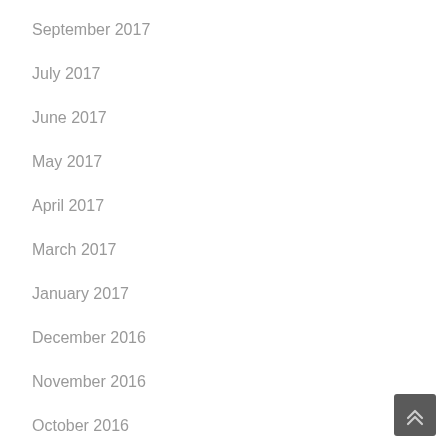September 2017
July 2017
June 2017
May 2017
April 2017
March 2017
January 2017
December 2016
November 2016
October 2016
August 2016
May 2016
[Figure (other): Scroll-to-top button with upward chevron arrows icon]